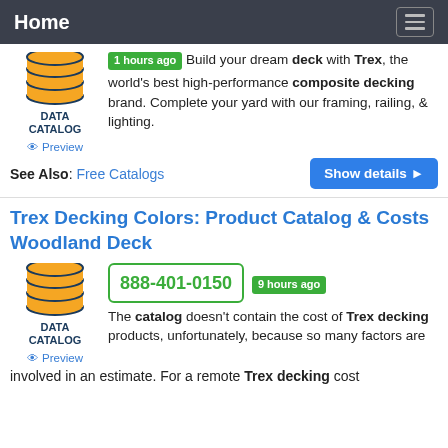Home
1 hours ago Build your dream deck with Trex, the world's best high-performance composite decking brand. Complete your yard with our framing, railing, & lighting.
See Also: Free Catalogs
Show details
Trex Decking Colors: Product Catalog & Costs Woodland Deck
888-401-0150
9 hours ago The catalog doesn't contain the cost of Trex decking products, unfortunately, because so many factors are involved in an estimate. For a remote Trex decking cost